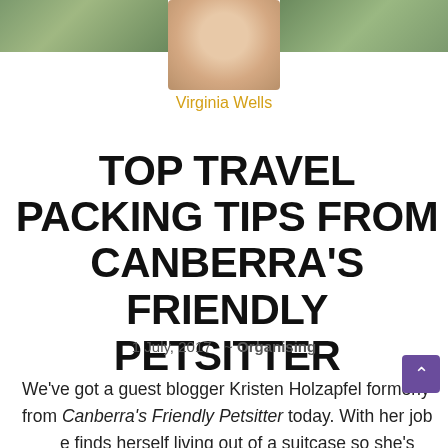[Figure (photo): Top banner with three cropped photos: left shows green/outdoor scene, center shows portrait of a smiling woman (Virginia Wells), right shows another outdoor/green scene]
Virginia Wells
TOP TRAVEL PACKING TIPS FROM CANBERRA'S FRIENDLY PETSITTER
1 July, 2017   ~ Organising
We've got a guest blogger Kristen Holzapfel formerly from Canberra's Friendly Petsitter today. With her job she finds herself living out of a suitcase so she's written a